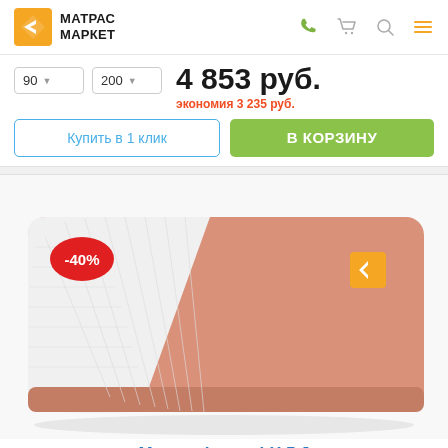[Figure (logo): Матрас Маркет logo with orange diamond arrow icon and bold text МАТРАС МАРКЕТ]
[Figure (infographic): Header icons: phone, cart, search, hamburger menu]
90 ▾   200 ▾
4 853 руб.
экономия 3 235 руб.
Купить в 1 клик
В КОРЗИНУ
[Figure (photo): Mattress product image showing a foam mattress with white quilted fabric on top-left corner and salmon/peach colored foam body, with -40% red badge label and orange Матрас Маркет logo on the mattress]
Матрас Lonax LX 5 J